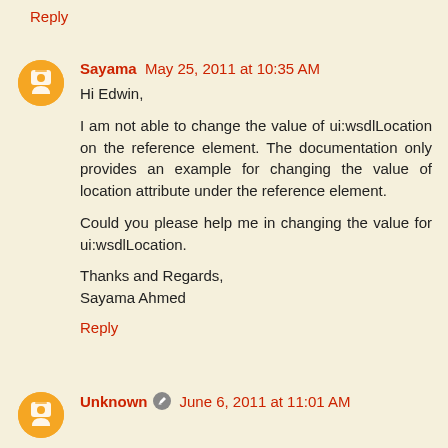Reply
Sayama May 25, 2011 at 10:35 AM
Hi Edwin,

I am not able to change the value of ui:wsdlLocation on the reference element. The documentation only provides an example for changing the value of location attribute under the reference element.

Could you please help me in changing the value for ui:wsdlLocation.

Thanks and Regards,
Sayama Ahmed

Reply
Unknown June 6, 2011 at 11:01 AM